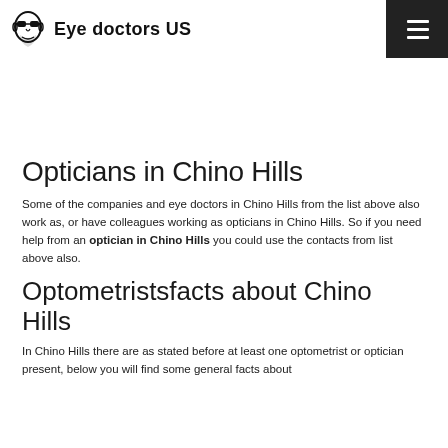Eye doctors US
Opticians in Chino Hills
Some of the companies and eye doctors in Chino Hills from the list above also work as, or have colleagues working as opticians in Chino Hills. So if you need help from an optician in Chino Hills you could use the contacts from list above also.
Optometristsfacts about Chino Hills
In Chino Hills there are as stated before at least one optometrist or optician present, below you will find some general facts about